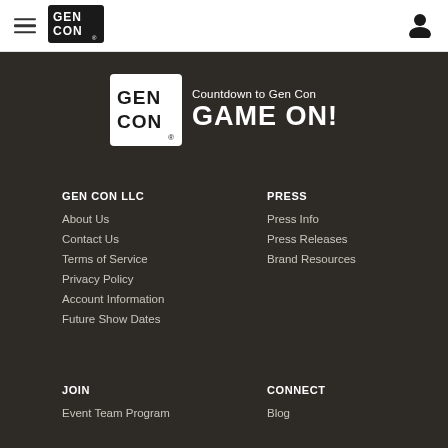Gen Con navigation header with hamburger menu, Gen Con logo, and user icon
[Figure (logo): Gen Con logo with 'Countdown to Gen Con GAME ON!' text]
GEN CON LLC
About Us
Contact Us
Terms of Service
Privacy Policy
Account Information
Future Show Dates
PRESS
Press Info
Press Releases
Brand Resources
JOIN
Event Team Program
CONNECT
Blog